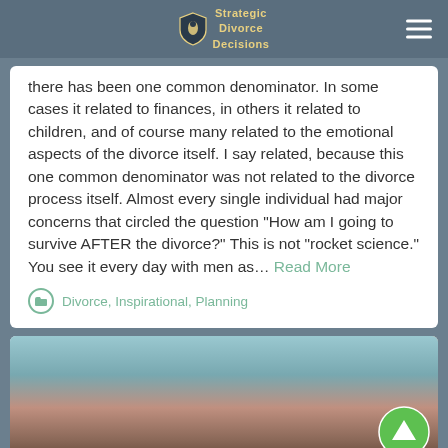Strategic Divorce Decisions
there has been one common denominator. In some cases it related to finances, in others it related to children, and of course many related to the emotional aspects of the divorce itself. I say related, because this one common denominator was not related to the divorce process itself. Almost every single individual had major concerns that circled the question “How am I going to survive AFTER the divorce?” This is not “rocket science.” You see it every day with men as... Read More
Divorce, Inspirational, Planning
[Figure (photo): Close-up photo of a person's face with long brown hair, partially visible, with a green circular up-arrow button overlay in the bottom right corner]